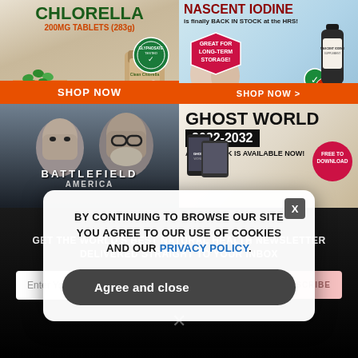[Figure (illustration): Chlorella 200MG Tablets (283g) product ad with green tablets in bowl, supplement bag, SHOP NOW button]
[Figure (illustration): Nascent Iodine product ad — is finally BACK IN STOCK at the HRS! GREAT FOR LONG-TERM STORAGE badge, bottle image, SHOP NOW button]
[Figure (illustration): Battlefield America documentary ad — two men in grayscale, BATTLEFIELD AMERICA text]
[Figure (illustration): Ghost World 2022-2032 Audio Book Is Available Now! FREE TO DOWNLOAD promo ad]
GET THE WORLD'S BEST NATURAL HEALTH NEWSLETTER DELIVERED STRAIGHT TO YOUR INBOX
Enter Your Email Address
SUBSCRIBE
[Figure (screenshot): Cookie consent popup: BY CONTINUING TO BROWSE OUR SITE YOU AGREE TO OUR USE OF COOKIES AND OUR PRIVACY POLICY. Agree and close button. X close button.]